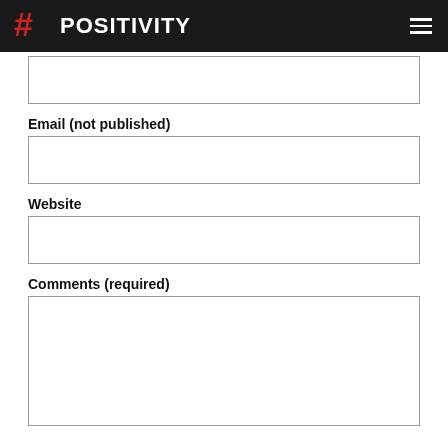#POSITIVITY
Email (not published)
Website
Comments (required)